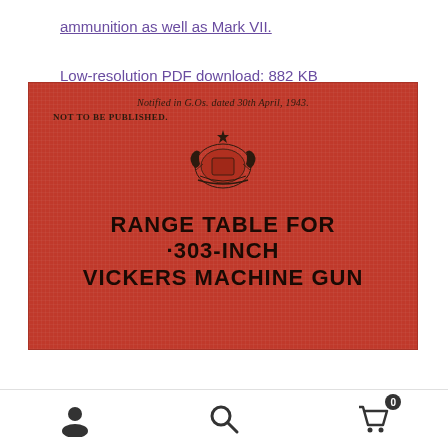ammunition as well as Mark VII.
Low-resolution PDF download: 882 KB
[Figure (photo): Cover of a red booklet titled 'Range Table for .303-Inch Vickers Machine Gun'. The cover shows text: 'Notified in G.Os. dated 30th April, 1943.' and 'NOT TO BE PUBLISHED.' with an Australian Commonwealth coat of arms emblem in the center.]
[Figure (other): Website navigation bar with user account icon, search icon, and shopping cart icon with badge showing 0.]